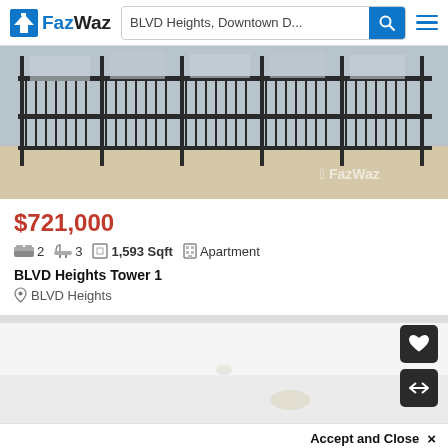FazWaz — BLVD Heights, Downtown D...
[Figure (photo): Interior apartment view showing floor-to-ceiling glass sliding doors with balcony railing and city view beyond, wooden floor in foreground. FazWaz watermark bottom right.]
$721,000
2  3  1,593 Sqft  Apartment
BLVD Heights Tower 1
BLVD Heights
[Figure (photo): Interior bathroom or room photo showing white ceiling with recessed lighting, minimalist style.]
Accept and Close ×
Your browser settings do not allow cross-site tracking for advertising. Click on this page to allow AdRoll to use cross-site tracking to tailor ads to you. Learn more or opt out of this AdRoll tracking by clicking here. This message only appears once.